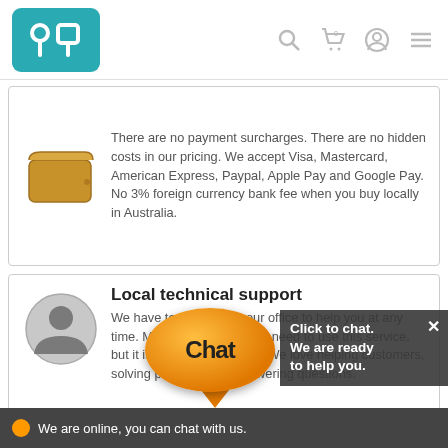[Figure (logo): Teal/green rounded square logo with white circuit/connector icon]
[Figure (illustration): Navigation icons: search magnifier, shopping cart with 0, user/account circle, hamburger menu]
There are no payment surcharges. There are no hidden costs in our pricing. We accept Visa, Mastercard, American Express, Paypal, Apple Pay and Google Pay. No 3% foreign currency bank fee when you buy locally in Australia.
[Figure (illustration): Brown leather wallet icon]
Local technical support
We have technicians in our office to help you at any time. Most customers never need to use this service, but it is there if you need it. We love helping customers, solving problems and answering questions.
[Figure (illustration): Gray circle with person/user silhouette icon]
[Figure (illustration): Orange chat bubble with text 'Chat' and callout box saying 'Click to chat. We are ready to help you.' with X close button]
Overnight ...
You want you...
[Figure (illustration): Brown cardboard box/package icon]
We are online, you can chat with us.